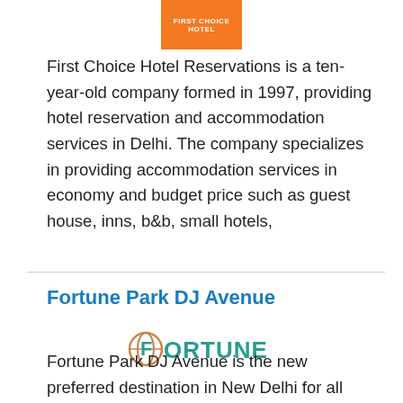[Figure (logo): Orange rectangular logo with white text at top center]
First Choice Hotel Reservations is a ten-year-old company formed in 1997, providing hotel reservation and accommodation services in Delhi. The company specializes in providing accommodation services in economy and budget price such as guest house, inns, b&b, small hotels,
Fortune Park DJ Avenue
[Figure (logo): Fortune hotel brand logo with stylized F and globe icon in teal/brown colors]
Fortune Park DJ Avenue is the new preferred destination in New Delhi for all kinds of social events, conferences, meetings, corporate events and holiday getaways with friends and family.With an